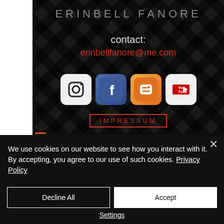ERINBELL FANORE
contact:
erinbellfanore@me.com
[Figure (infographic): Row of four social media icons: Instagram, Facebook, Blogger, YouTube]
IMPRESSUM
We use cookies on our website to see how you interact with it. By accepting, you agree to our use of such cookies. Privacy Policy
Decline All
Accept
Settings